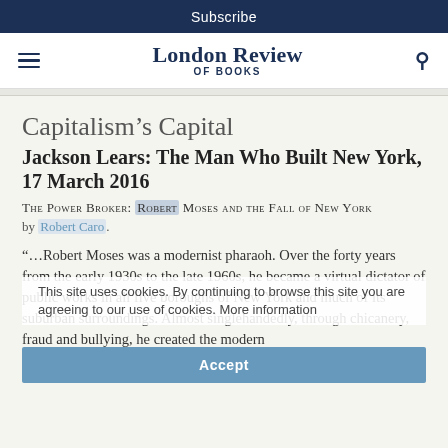Subscribe
London Review OF BOOKS
Capitalism’s Capital
Jackson Lears: The Man Who Built New York, 17 March 2016
The Power Broker: Robert Moses and the Fall of New York
by Robert Caro.
“…Robert Moses was a modernist pharaoh. Over the forty years from the early 1930s to the late 1960s, he became a virtual dictator of public works in all five boroughs of New York and much of its suburban surroundings. Almost singlehandedly, through chicanery, fraud and bullying, he created the modern
This site uses cookies. By continuing to browse this site you are agreeing to our use of cookies. More information
Accept